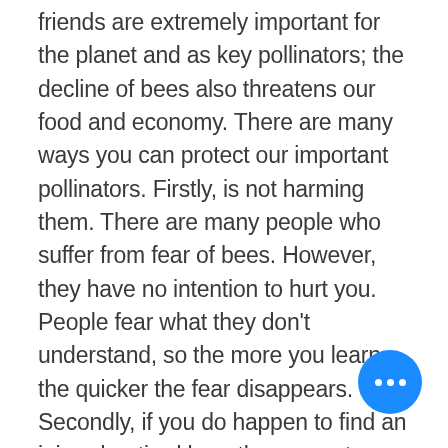friends are extremely important for the planet and as key pollinators; the decline of bees also threatens our food and economy. There are many ways you can protect our important pollinators. Firstly, is not harming them. There are many people who suffer from fear of bees. However, they have no intention to hurt you. People fear what they don't understand, so the more you learn the quicker the fear disappears. Secondly, if you do happen to find an injured or tired bee, there are steps you can take to revive it. The RSPB advice is to mix two tablespoons of white granulated sugar with one tablespoon of water and place it next to the bee on a plate or spoon. No this may seem like a lot of effort, but I personally feel it is a small sign of
[Figure (other): Blue circular floating action button with three white horizontal dots (ellipsis menu icon)]